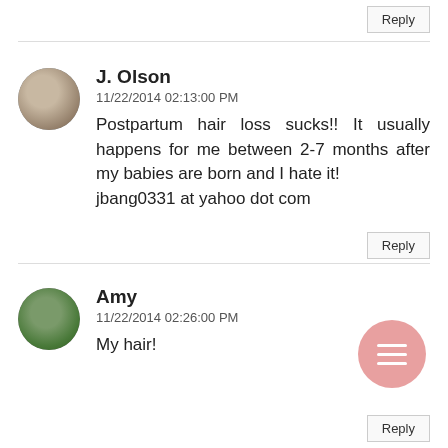Reply
J. Olson
11/22/2014 02:13:00 PM
Postpartum hair loss sucks!! It usually happens for me between 2-7 months after my babies are born and I hate it!
jbang0331 at yahoo dot com
Reply
Amy
11/22/2014 02:26:00 PM
My hair!
Reply